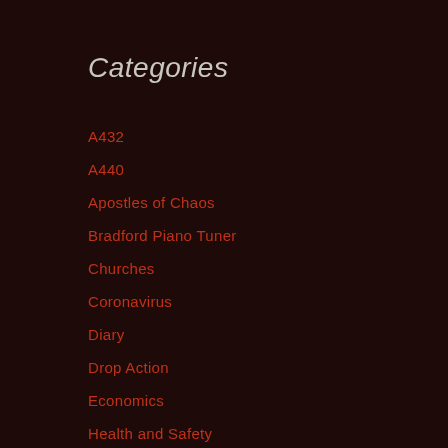Categories
A432
A440
Apostles of Chaos
Bradford Piano Tuner
Churches
Coronavirus
Diary
Drop Action
Economics
Health and Safety
Holidays
Leeds International Piano